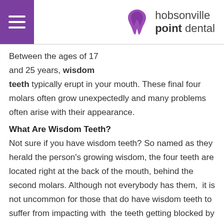hobsonville point dental
Between the ages of 17 and 25 years, wisdom teeth typically erupt in your mouth. These final four molars often grow unexpectedly and many problems often arise with their appearance.
What Are Wisdom Teeth?
Not sure if you have wisdom teeth? So named as they herald the person's growing wisdom, the four teeth are located right at the back of the mouth, behind the second molars. Although not everybody has them,  it is not uncommon for those that do have wisdom teeth to suffer from impacting with  the teeth getting blocked by